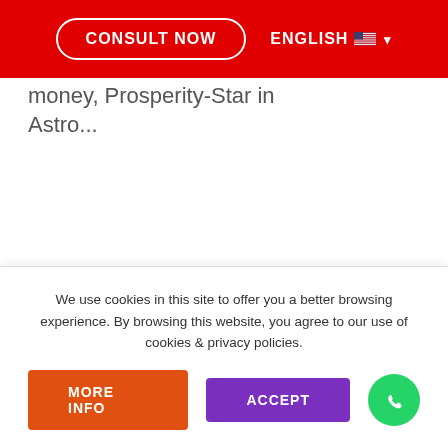CONSULT NOW | ENGLISH
money, Prosperity-Star in Astro...
We use cookies in this site to offer you a better browsing experience. By browsing this website, you agree to our use of cookies & privacy policies.
MORE INFO | ACCEPT